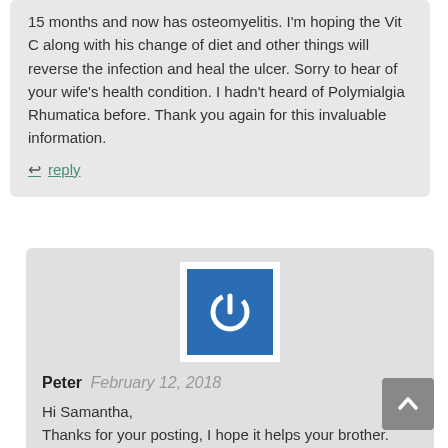15 months and now has osteomyelitis. I'm hoping the Vit C along with his change of diet and other things will reverse the infection and heal the ulcer. Sorry to hear of your wife's health condition. I hadn't heard of Polymialgia Rhumatica before. Thank you again for this invaluable information.
↩ reply
[Figure (logo): Blue square with white power button icon, inside a white bordered box]
Peter  February 12, 2018
Hi Samantha,
Thanks for your posting, I hope it helps your brother. You said he has a leg ulcer and I